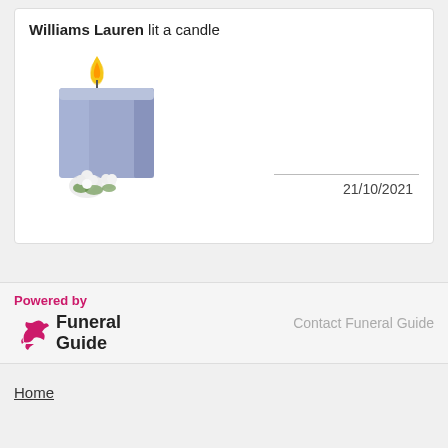Williams Lauren lit a candle
[Figure (illustration): A blue square candle with a yellow flame on top, and white roses at its base]
21/10/2021
Powered by
[Figure (logo): Funeral Guide logo with pink dove and text 'Funeral Guide']
Contact Funeral Guide
Home